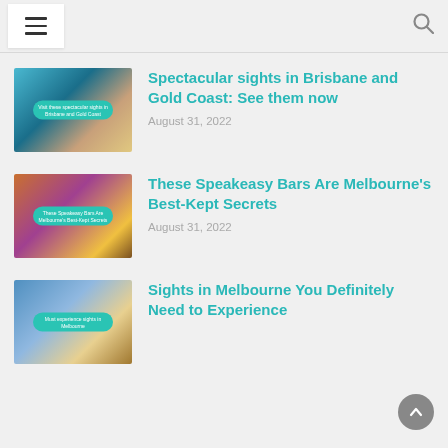Navigation menu and search icon
[Figure (photo): Thumbnail image of beach/city scene for Brisbane and Gold Coast article]
Spectacular sights in Brisbane and Gold Coast: See them now
August 31, 2022
[Figure (photo): Thumbnail image of speakeasy bar scene for Melbourne bars article]
These Speakeasy Bars Are Melbourne's Best-Kept Secrets
August 31, 2022
[Figure (photo): Thumbnail image of Melbourne sights with person wearing hat]
Sights in Melbourne You Definitely Need to Experience